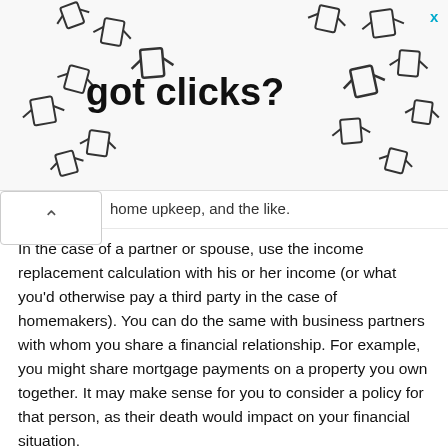[Figure (other): Advertisement banner with cursor/hand icons and text 'got clicks?' with a close X button in top right]
home upkeep, and the like.
In the case of a partner or spouse, use the income replacement calculation with his or her income (or what you'd otherwise pay a third party in the case of homemakers). You can do the same with business partners with whom you share a financial relationship. For example, you might share mortgage payments on a property you own together. It may make sense for you to consider a policy for that person, as their death would impact on your financial situation.
Debt
Life insurance should cover the payment of all your debts, such as student loans, mortgages, credit